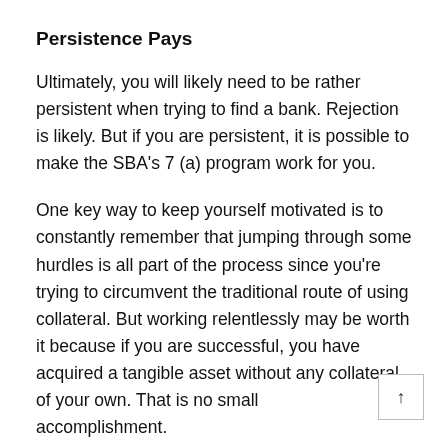Persistence Pays
Ultimately, you will likely need to be rather persistent when trying to find a bank. Rejection is likely. But if you are persistent, it is possible to make the SBA's 7 (a) program work for you.
One key way to keep yourself motivated is to constantly remember that jumping through some hurdles is all part of the process since you're trying to circumvent the traditional route of using collateral. But working relentlessly may be worth it because if you are successful, you have acquired a tangible asset without any collateral of your own. That is no small accomplishment.